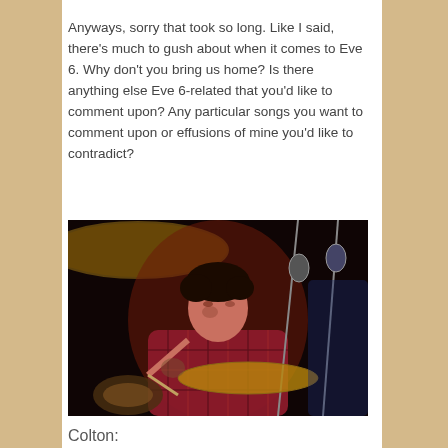Anyways, sorry that took so long. Like I said, there's much to gush about when it comes to Eve 6. Why don't you bring us home? Is there anything else Eve 6-related that you'd like to comment upon? Any particular songs you want to comment upon or effusions of mine you'd like to contradict?
[Figure (photo): A drummer playing drums on stage, wearing a red plaid shirt, with cymbals and microphones visible. Dark background with stage lighting.]
Colton: